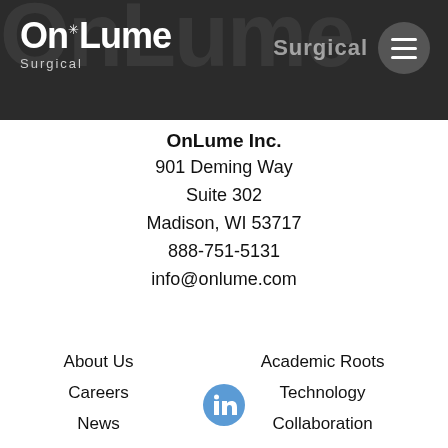[Figure (logo): OnLume Surgical logo in white on dark background header with hamburger menu icon]
OnLume Inc.
901 Deming Way
Suite 302
Madison, WI 53717
888-751-5131
info@onlume.com
About Us
Careers
News
Contact
Academic Roots
Technology
Collaboration
[Figure (logo): LinkedIn icon in blue circle]